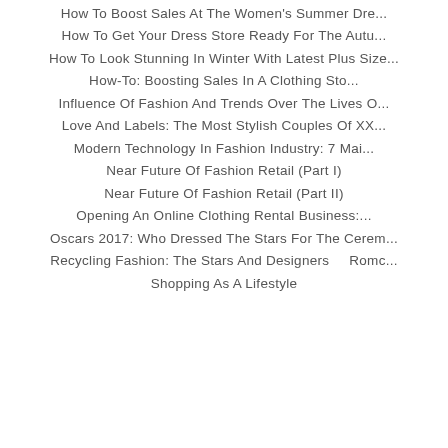How To Boost Sales At The Women's Summer Dre...
How To Get Your Dress Store Ready For The Autu...
How To Look Stunning In Winter With Latest Plus Size...
How-To: Boosting Sales In A Clothing Sto...
Influence Of Fashion And Trends Over The Lives O...
Love And Labels: The Most Stylish Couples Of XX...
Modern Technology In Fashion Industry: 7 Mai...
Near Future Of Fashion Retail (Part I)
Near Future Of Fashion Retail (Part II)
Opening An Online Clothing Rental Business:...
Oscars 2017: Who Dressed The Stars For The Cerem...
Recycling Fashion: The Stars And Designers    Romc...
Shopping As A Lifestyle